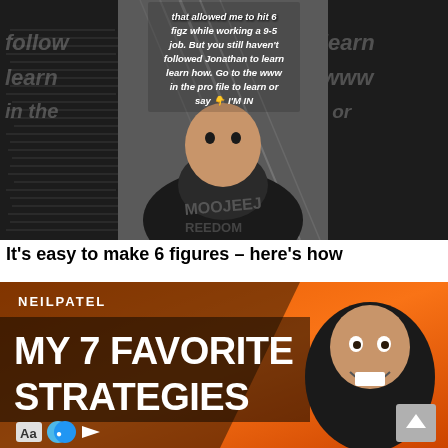[Figure (screenshot): TikTok/social media video screenshot showing a man in a black 'FREEDOM' t-shirt with overlaid white italic text reading: 'that allowed me to hit 6 figz while working a 9-5 job. But you still haven't followed Jonathan to learn learn how. Go to the www in the pro file to learn or say 👇 I'M IN'. Watermark text on left and right sides partially visible.]
It's easy to make 6 figures – here's how
[Figure (screenshot): YouTube thumbnail for Neil Patel showing orange/dark background with white text 'NEILPATEL' at top, large bold white text 'MY 7 FAVORITE STRATEGIES' on dark overlay, social media icons at bottom left, and Neil Patel's face on the right side. A gray scroll-to-top button in bottom right corner.]